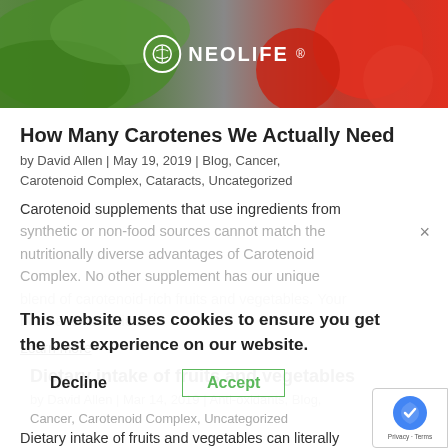[Figure (photo): NeoLife branded hero image showing green leaves on the left and red tomatoes on the right, with the NeoLife logo centered]
How Many Carotenes We Actually Need
by David Allen | May 19, 2019 | Blog, Cancer, Carotenoid Complex, Cataracts, Uncategorized
Carotenoid supplements that use ingredients from synthetic or non-food sources cannot match the nutritionally diverse advantages of Carotenoid Complex. No other supplement has our unique blend of carotenoid-rich fruits and vegetables. Your body and its delicate...
Learn more
Dietary intake of fruits and vegetables
by David Allen | Mar 14, 2019 | Anti-oxidants, Blog, Cancer, Carotenoid Complex, Uncategorized
Dietary intake of fruits and vegetables can literally
This website uses cookies to ensure you get the best experience on our website.